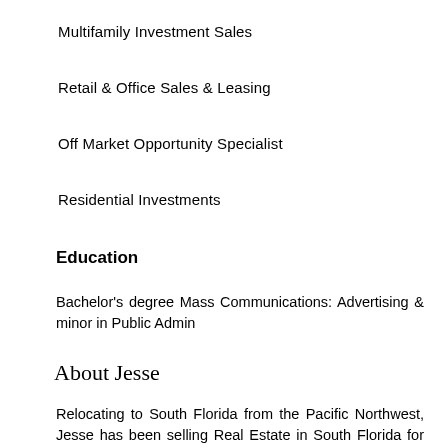Multifamily Investment Sales
Retail & Office Sales & Leasing
Off Market Opportunity Specialist
Residential Investments
Education
Bachelor's degree Mass Communications: Advertising & minor in Public Admin
About Jesse
Relocating to South Florida from the Pacific Northwest, Jesse has been selling Real Estate in South Florida for eight years quickly becoming a highly skilled